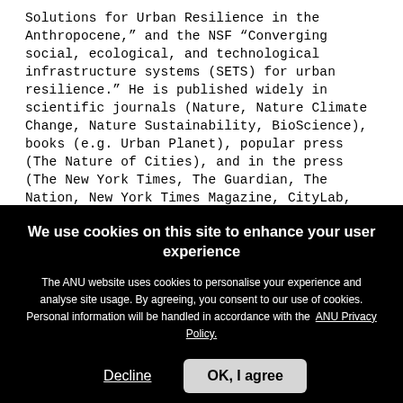Solutions for Urban Resilience in the Anthropocene,” and the NSF “Converging social, ecological, and technological infrastructure systems (SETS) for urban resilience.” He is published widely in scientific journals (Nature, Nature Climate Change, Nature Sustainability, BioScience), books (e.g. Urban Planet), popular press (The Nature of Cities), and in the press (The New York Times, The Guardian, The Nation, New York Times Magazine, CityLab, Urban
We use cookies on this site to enhance your user experience
The ANU website uses cookies to personalise your experience and analyse site usage. By agreeing, you consent to our use of cookies. Personal information will be handled in accordance with the ANU Privacy Policy.
Decline
OK, I agree